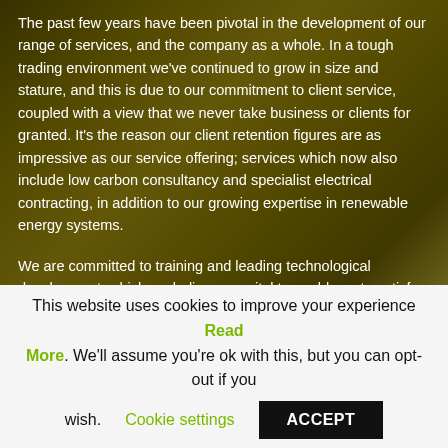The past few years have been pivotal in the development of our range of services, and the company as a whole. In a tough trading environment we've continued to grow in size and stature, and this is due to our commitment to client service, coupled with a view that we never take business or clients for granted. It's the reason our client retention figures are as impressive as our service offering; services which now also include low carbon consultancy and specialist electrical contracting, in addition to our growing expertise in renewable energy systems.
We are committed to training and leading technological development, which we believe are vital to enable us to satisfy the requirements of the construction industry in the future. Yes, we're an M & E contractor, but we're much more besides. The company operates a full suite of integrated management systems holding ISO 9001 14001 and 45001
This website uses cookies to improve your experience Read More. We'll assume you're ok with this, but you can opt-out if you wish. Cookie settings ACCEPT